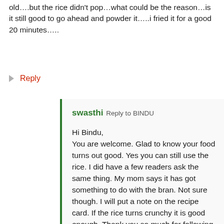old….but the rice didn't pop…what could be the reason…is it still good to go ahead and powder it…..i fried it for a good 20 minutes…..
Reply
swasthi  Reply to  BINDU
Hi Bindu, You are welcome. Glad to know your food turns out good. Yes you can still use the rice. I did have a few readers ask the same thing. My mom says it has got something to do with the bran. Not sure though. I will put a note on the recipe card. If the rice turns crunchy it is good enough. Thank you so much for following the blog.